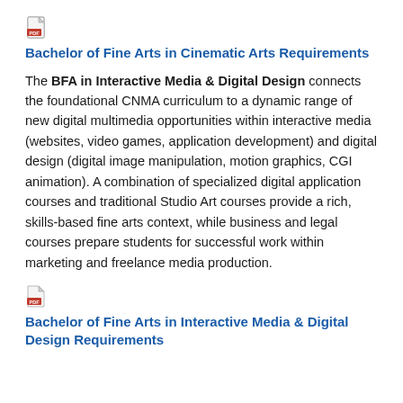[Figure (other): PDF document icon]
Bachelor of Fine Arts in Cinematic Arts Requirements
The BFA in Interactive Media & Digital Design connects the foundational CNMA curriculum to a dynamic range of new digital multimedia opportunities within interactive media (websites, video games, application development) and digital design (digital image manipulation, motion graphics, CGI animation). A combination of specialized digital application courses and traditional Studio Art courses provide a rich, skills-based fine arts context, while business and legal courses prepare students for successful work within marketing and freelance media production.
[Figure (other): PDF document icon]
Bachelor of Fine Arts in Interactive Media & Digital Design Requirements